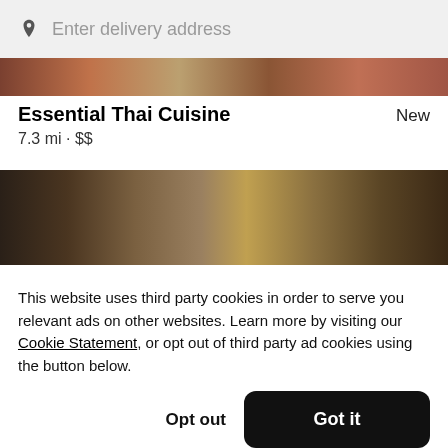Enter delivery address
[Figure (photo): Partial top strip of food/dishes photo]
Essential Thai Cuisine
New
7.3 mi • $$
[Figure (photo): Food dishes photo strip including sushi rolls, sauces, and other Thai/Asian dishes on a dark background]
This website uses third party cookies in order to serve you relevant ads on other websites. Learn more by visiting our Cookie Statement, or opt out of third party ad cookies using the button below.
Opt out
Got it